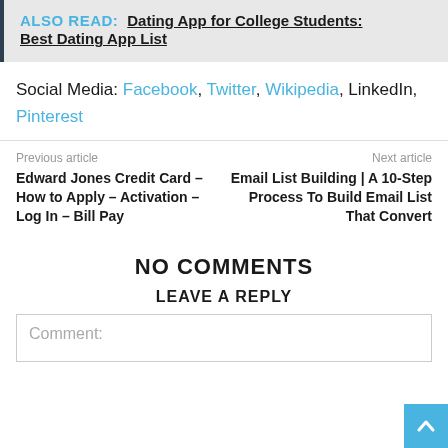ALSO READ: Dating App for College Students: Best Dating App List
Social Media: Facebook, Twitter, Wikipedia, LinkedIn, Pinterest
Previous article
Next article
Edward Jones Credit Card – How to Apply – Activation – Log In – Bill Pay
Email List Building | A 10-Step Process To Build Email List That Convert
NO COMMENTS
LEAVE A REPLY
Comment: